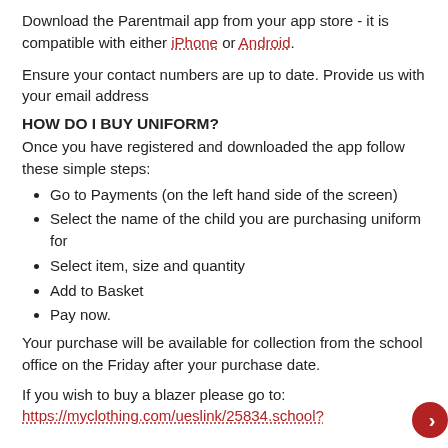Download the Parentmail app from your app store - it is compatible with either iPhone or Android.
Ensure your contact numbers are up to date. Provide us with your email address
HOW DO I BUY UNIFORM?
Once you have registered and downloaded the app follow these simple steps:
Go to Payments (on the left hand side of the screen)
Select the name of the child you are purchasing uniform for
Select item, size and quantity
Add to Basket
Pay now.
Your purchase will be available for collection from the school office on the Friday after your purchase date.
If you wish to buy a blazer please go to:
https://myclothing.com/ueslink/25834.school?